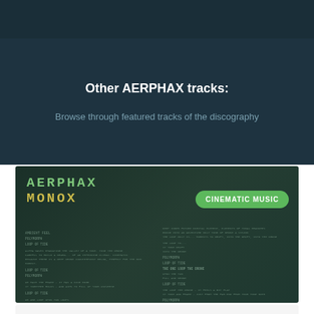Other AERPHAX tracks:
Browse through featured tracks of the discography
[Figure (screenshot): Album cover/page for AERPHAX MONOX with track listing and a green 'CINEMATIC MUSIC' badge button]
AERPHAX – MONOX